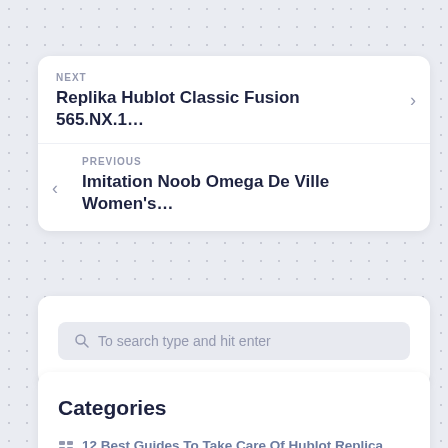NEXT
Replika Hublot Classic Fusion 565.NX.1…
PREVIOUS
Imitation Noob Omega De Ville Women's…
To search type and hit enter
Categories
12 Best Guides To Take Care Of Hublot Replica Watches Under $70